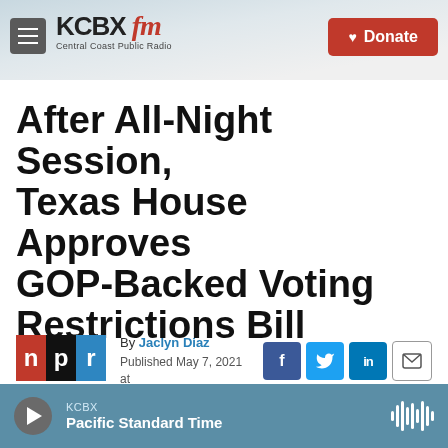KCBX FM — Central Coast Public Radio | Donate
After All-Night Session, Texas House Approves GOP-Backed Voting Restrictions Bill
By Jaclyn Diaz
Published May 7, 2021 at 3:49 AM PDT
[Figure (logo): NPR logo with n in red, p in black, r in blue]
[Figure (screenshot): Social share buttons: Facebook, Twitter, LinkedIn, Email]
KCBX Pacific Standard Time — audio player bar